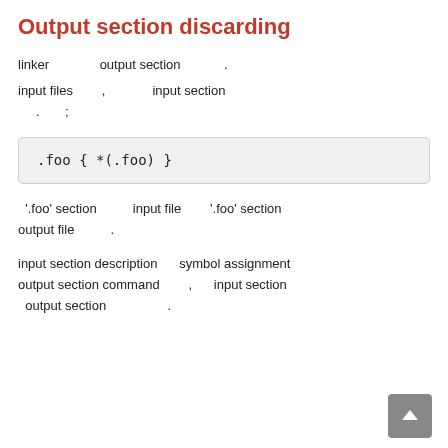Output section discarding
linker  output section  .
input files  ,  input section  .  ;
[Figure (screenshot): Code block showing: .foo { *(.foo) }]
'.foo' section  input file  '.foo' section output file  .
input section description  symbol assignment output section command  ,  input section  output section  .